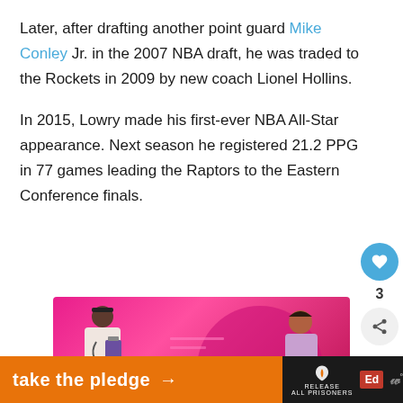Later, after drafting another point guard Mike Conley Jr. in the 2007 NBA draft, he was traded to the Rockets in 2009 by new coach Lionel Hollins.
In 2015, Lowry made his first-ever NBA All-Star appearance. Next season he registered 21.2 PPG in 77 games leading the Raptors to the Eastern Conference finals.
[Figure (illustration): Pink/magenta illustrated banner showing a doctor figure on the left with a stethoscope and clipboard, and a female patient figure on the right against a pink background with a large circular shape.]
[Figure (infographic): Dark bottom bar with orange 'take the pledge' call-to-action section with arrow, followed by Release All Prisoners logo, Ed logo, and WW degree logo on black background.]